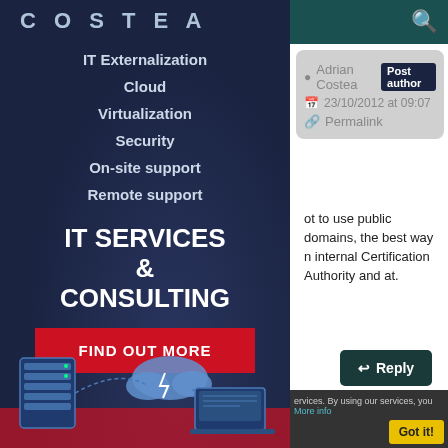COSTEA
IT Externalization
Cloud
Virtualization
Security
On-site support
Remote support
IT SERVICES & CONSULTING
FIND OUT MORE
[Figure (illustration): IT infrastructure illustration with server rack, cloud, and laptop]
Adrian Costea  Post author  23/10/2012 at 09:07  Permalink
ot to use public domains, the best way n internal Certification Authority and at.
Reply
ervices. By using our services, you
More info
Got it!